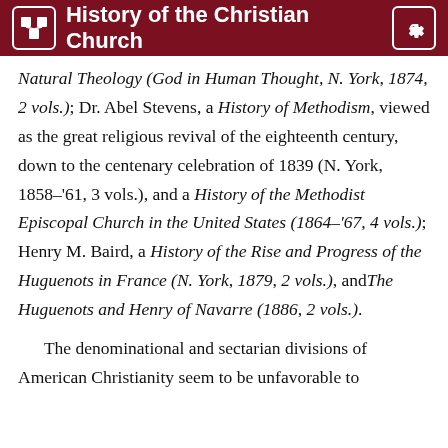History of the Christian Church
Natural Theology (God in Human Thought, N. York, 1874, 2 vols.); Dr. Abel Stevens, a History of Methodism, viewed as the great religious revival of the eighteenth century, down to the centenary celebration of 1839 (N. York, 1858–'61, 3 vols.), and a History of the Methodist Episcopal Church in the United States (1864–'67, 4 vols.); Henry M. Baird, a History of the Rise and Progress of the Huguenots in France (N. York, 1879, 2 vols.), and The Huguenots and Henry of Navarre (1886, 2 vols.).
The denominational and sectarian divisions of American Christianity seem to be unfavorable to